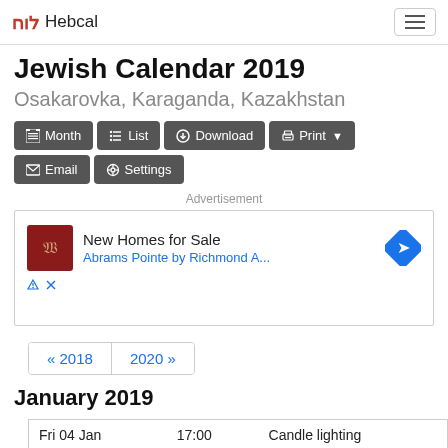לוח Hebcal
Jewish Calendar 2019
Osakarovka, Karaganda, Kazakhstan
Month  List  Download  Print  Email  Settings
Advertisement
[Figure (other): Advertisement banner: New Homes for Sale - Abrams Pointe by Richmond A...]
« 2018  2020 »
January 2019
| Date | Time | Event |
| --- | --- | --- |
| Fri 04 Jan | 17:00 | Candle lighting |